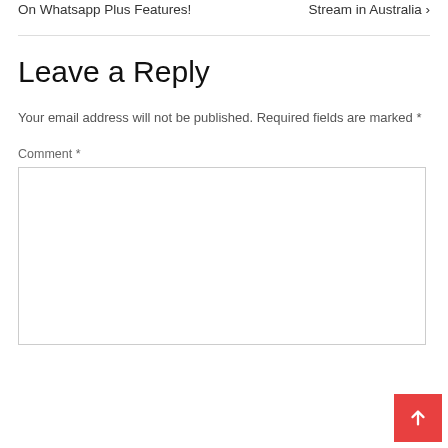On Whatsapp Plus Features!    Stream in Australia ›
Leave a Reply
Your email address will not be published. Required fields are marked *
Comment *
[Figure (screenshot): Empty comment text area input box]